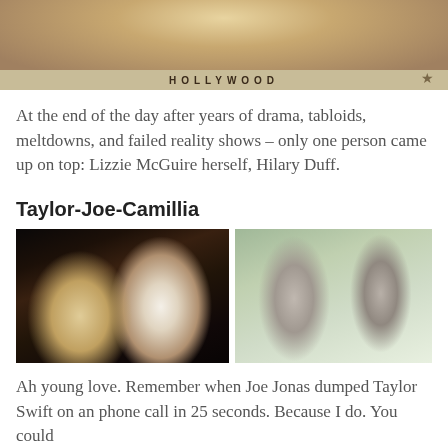[Figure (photo): Close-up photo of a blonde woman smiling, with Hollywood Walk of Fame stars visible in the background (Hilary Duff)]
At the end of the day after years of drama, tabloids, meltdowns, and failed reality shows – only one person came up on top: Lizzie McGuire herself, Hilary Duff.
Taylor-Joe-Camillia
[Figure (photo): Two side-by-side photos: left shows Taylor Swift and Joe Jonas together at an event; right shows Joe Jonas walking with Camilla Belle on a street.]
Ah young love. Remember when Joe Jonas dumped Taylor Swift on an phone call in 25 seconds. Because I do. You could